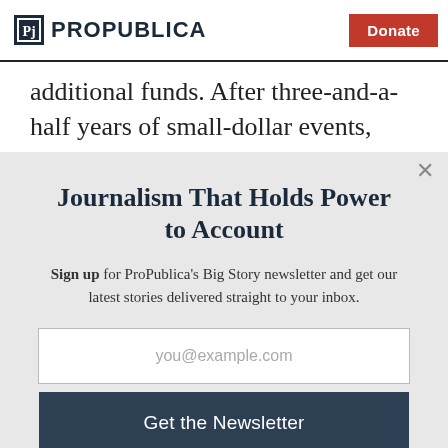ProPublica | Donate
additional funds. After three-and-a-half years of small-dollar events, they
Journalism That Holds Power to Account
Sign up for ProPublica's Big Story newsletter and get our latest stories delivered straight to your inbox.
you@example.com
Get the Newsletter
No thanks, I'm all set
This site is protected by reCAPTCHA and the Google Privacy Policy and Terms of Service apply.